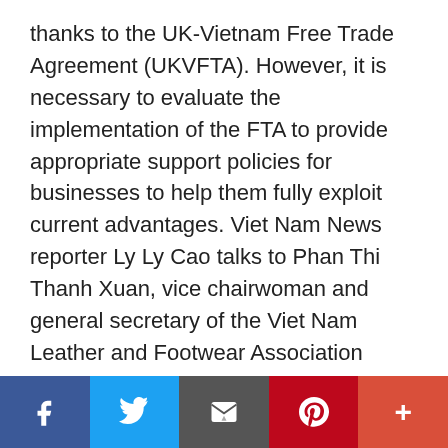thanks to the UK-Vietnam Free Trade Agreement (UKVFTA). However, it is necessary to evaluate the implementation of the FTA to provide appropriate support policies for businesses to help them fully exploit current advantages. Viet Nam News reporter Ly Ly Cao talks to Phan Thi Thanh Xuan, vice chairwoman and general secretary of the Viet Nam Leather and Footwear Association (Lefaso) about opportunities, challenges, and policy changes needed for enterprises in the industry. Phan Thi Thanh Xuan, vice chairwoman and general secretary of the Viet Nam Leather and Footwear Association (Lefaso). — VNS Photo Ly Ly Cao How has the UKVFTA affected leather and footwear companies
Social sharing bar: Facebook, Twitter, Email, Pinterest, More